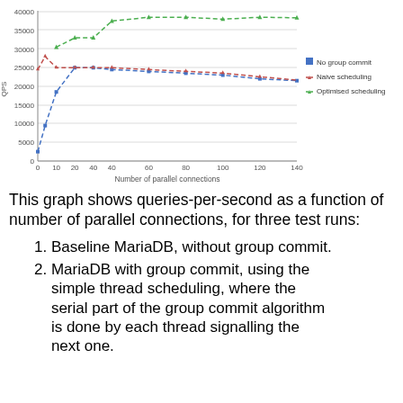[Figure (line-chart): ]
This graph shows queries-per-second as a function of number of parallel connections, for three test runs:
1. Baseline MariaDB, without group commit.
2. MariaDB with group commit, using the simple thread scheduling, where the serial part of the group commit algorithm is done by each thread signalling the next one.